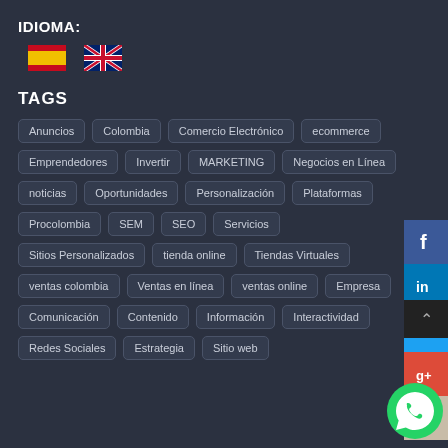IDIOMA:
[Figure (illustration): Spanish flag and UK flag icons for language selection]
TAGS
Anuncios
Colombia
Comercio Electrónico
ecommerce
Emprendedores
Invertir
MARKETING
Negocios en Línea
noticias
Oportunidades
Personalización
Plataformas
Procolombia
SEM
SEO
Servicios
Sitios Personalizados
tienda online
Tiendas Virtuales
ventas colombia
Ventas en línea
ventas online
Empresa
Comunicación
Contenido
Información
Interactividad
Redes Sociales
Estrategia
Sitio web